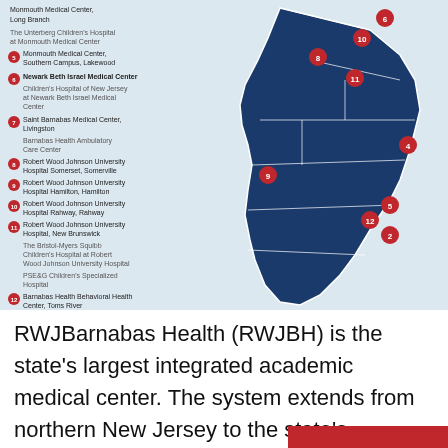[Figure (map): Map of New Jersey showing numbered red circle markers (2-12) indicating RWJBarnabas Health facility locations across the state. Dark blue shading covers the state. Left side shows a legend listing numbered facilities including Monmouth Medical Center Long Branch, The Unterberg Children's Hospital at Monmouth Medical Center, Monmouth Medical Center Southern Campus Lakewood, Newark Beth Israel Medical Center, Children's Hospital of New Jersey at Newark Beth Israel Medical Center, Saint Barnabas Medical Center Livingston, Barnabas Health Ambulatory Care Center, Robert Wood Johnson University Hospital Somerset Somerville, Robert Wood Johnson University Hospital Hamilton Hamilton, Robert Wood Johnson University Hospital Rahway Rahway, Robert Wood Johnson University Hospital New Brunswick, The Bristol-Myers Squibb Children's Hospital at Robert Wood Johnson University Hospital, PSE&G Children's Specialized Hospital, Barnabas Health Behavioral Health Center Toms River.]
RWJBarnabas Health (RWJBH) is the state's largest integrated academic medical center. The system extends from northern New Jersey to the state's